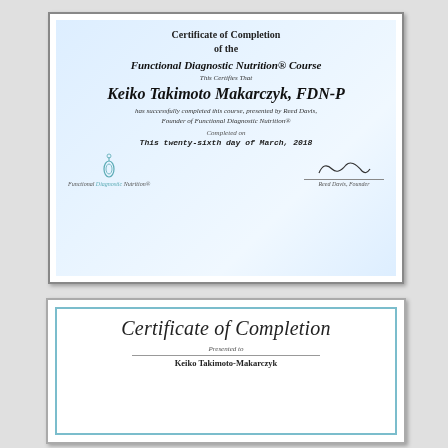[Figure (illustration): Certificate of Completion of the Functional Diagnostic Nutrition® Course awarded to Keiko Takimoto Makarczyk, FDN-P, completed on the twenty-sixth day of March, 2018, signed by Reed Davis, Founder.]
[Figure (illustration): Partial Certificate of Completion presented to Keiko Takimoto-Makarczyk (bottom portion cut off).]